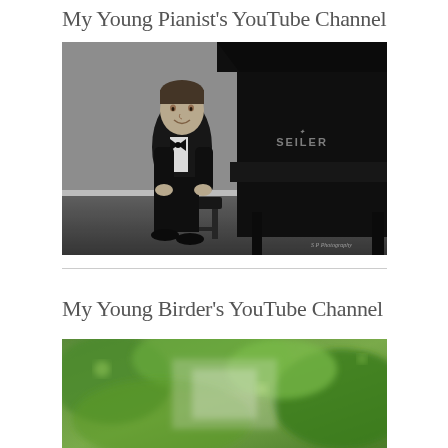My Young Pianist's YouTube Channel
[Figure (photo): Black and white professional photo of a young boy in a tuxedo with bow tie, sitting on a piano bench next to a Seiler grand piano. Photo credit: S P Photography]
My Young Birder's YouTube Channel
[Figure (photo): Partial color photo showing a blurry green nature background, cropped at bottom of page]